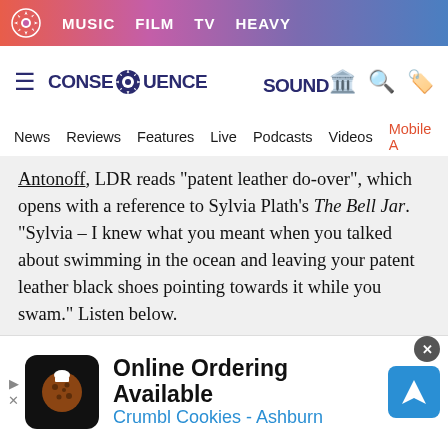MUSIC  FILM  TV  HEAVY
[Figure (logo): Consequence Sound logo with gear/flower icon and site name]
News  Reviews  Features  Live  Podcasts  Videos  Mobile App
Antonoff, LDR reads "patent leather do-over", which opens with a reference to Sylvia Plath's The Bell Jar. "Sylvia – I knew what you meant when you talked about swimming in the ocean and leaving your patent leather black shoes pointing towards it while you swam." Listen below.
behind the iron gates is actually the second poetry collection Del Rey has on the horizon;
[Figure (infographic): Advertisement for Crumbl Cookies - Ashburn: Online Ordering Available]